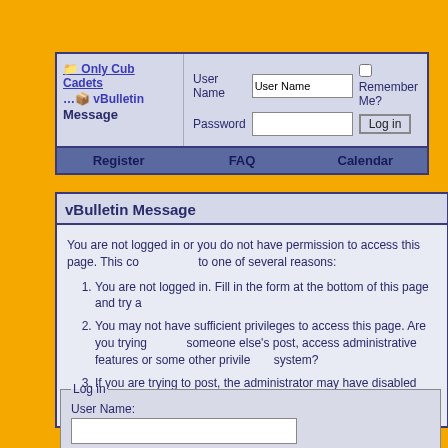[Figure (screenshot): vBulletin forum navigation bar with logo, login fields, and Register/FAQ/Calendar links]
vBulletin Message
You are not logged in or you do not have permission to access this page. This could be due to one of several reasons:
You are not logged in. Fill in the form at the bottom of this page and try again.
You may not have sufficient privileges to access this page. Are you trying to edit someone else's post, access administrative features or some other privileged system?
If you are trying to post, the administrator may have disabled your account, or it may be awaiting activation.
Log in form with User Name and Password fields, Remember Me checkbox, Forgotten Your Password link, Log in and Reset buttons